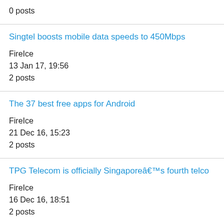0 posts
Singtel boosts mobile data speeds to 450Mbps
FireIce
13 Jan 17, 19:56
2 posts
The 37 best free apps for Android
FireIce
21 Dec 16, 15:23
2 posts
TPG Telecom is officially Singaporeâ€™s fourth telco
FireIce
16 Dec 16, 18:51
2 posts
Top 10 smartphones 2016